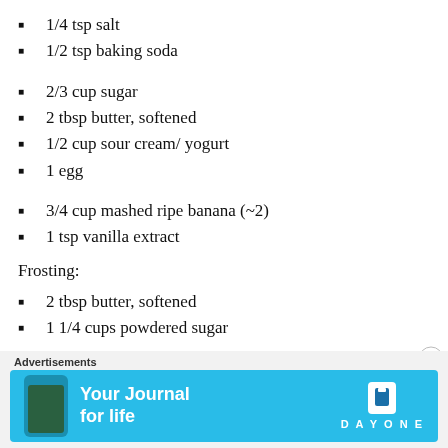1/4 tsp salt
1/2 tsp baking soda
2/3 cup sugar
2 tbsp butter, softened
1/2 cup sour cream/ yogurt
1 egg
3/4 cup mashed ripe banana (~2)
1 tsp vanilla extract
Frosting:
2 tbsp butter, softened
1 1/4 cups powdered sugar
[Figure (screenshot): Advertisement banner for Day One journal app with blue background, phone graphic, text 'Your Journal for life', and Day One logo.]